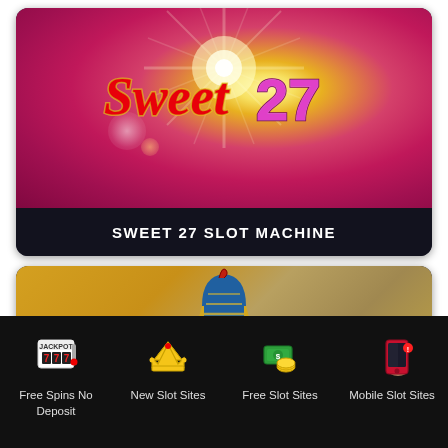[Figure (screenshot): Sweet 27 slot machine game logo on a pink/magenta radial burst background with star light effect. The logo shows 'Sweet' in red/gold script and '27' in large pink/purple block letters.]
SWEET 27 SLOT MACHINE
[Figure (screenshot): Egyptian-themed slot machine preview image showing a pharaoh/warrior figure in blue and gold headdress on a golden/amber gradient background.]
Free Spins No Deposit
New Slot Sites
Free Slot Sites
Mobile Slot Sites